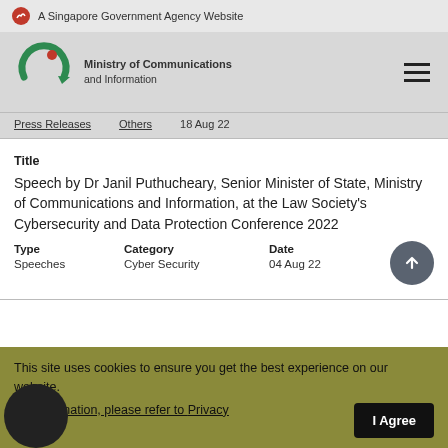A Singapore Government Agency Website
[Figure (logo): Ministry of Communications and Information logo with green circular arrow and red dot, along with hamburger menu icon]
Press Releases   Others   18 Aug 22
Title
Speech by Dr Janil Puthucheary, Senior Minister of State, Ministry of Communications and Information, at the Law Society's Cybersecurity and Data Protection Conference 2022
| Type | Category | Date |
| --- | --- | --- |
| Speeches | Cyber Security | 04 Aug 22 |
This site uses cookies to ensure you get the best experience on our website. For more information, please refer to Privacy Statement.